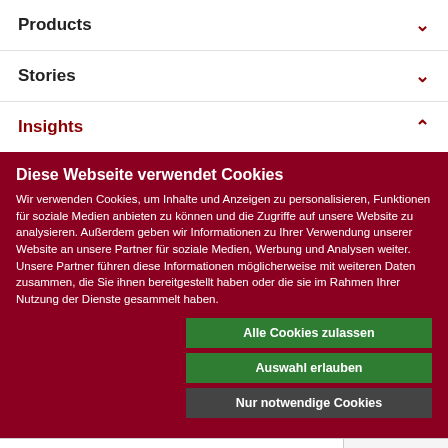Products ∨
Stories ∨
Insights ∧
Diese Webseite verwendet Cookies
Wir verwenden Cookies, um Inhalte und Anzeigen zu personalisieren, Funktionen für soziale Medien anbieten zu können und die Zugriffe auf unsere Website zu analysieren. Außerdem geben wir Informationen zu Ihrer Verwendung unserer Website an unsere Partner für soziale Medien, Werbung und Analysen weiter. Unsere Partner führen diese Informationen möglicherweise mit weiteren Daten zusammen, die Sie ihnen bereitgestellt haben oder die sie im Rahmen Ihrer Nutzung der Dienste gesammelt haben.
Alle Cookies zulassen
Auswahl erlauben
Nur notwendige Cookies
Notwendig  Präferenzen  Statistiken  Marketing  Details zeigen